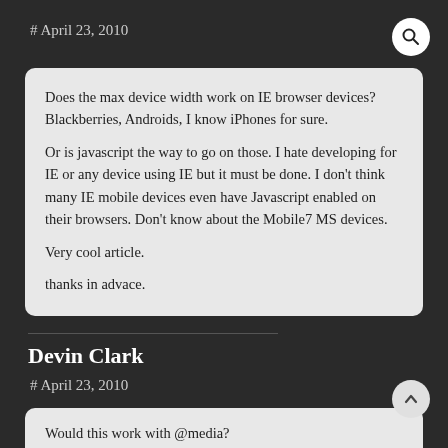# April 23, 2010
Does the max device width work on IE browser devices? Blackberries, Androids, I know iPhones for sure.
Or is javascript the way to go on those. I hate developing for IE or any device using IE but it must be done. I don't think many IE mobile devices even have Javascript enabled on their browsers. Don't know about the Mobile7 MS devices.
Very cool article.
thanks in advace.
Devin Clark
# April 23, 2010
Would this work with @media?
Ex.